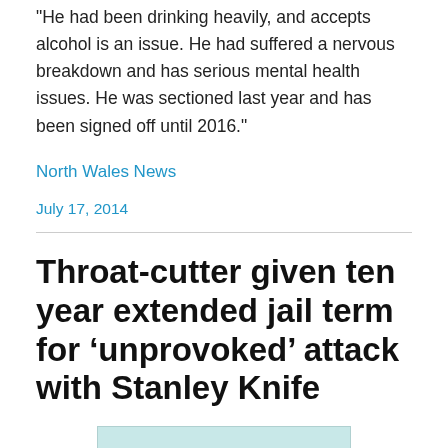“He had been drinking heavily, and accepts alcohol is an issue. He had suffered a nervous breakdown and has serious mental health issues. He was sectioned last year and has been signed off until 2016.”
North Wales News
July 17, 2014
Throat-cutter given ten year extended jail term for ‘unprovoked’ attack with Stanley Knife
[Figure (photo): Partial image visible at bottom of page, light blue/teal colored background]